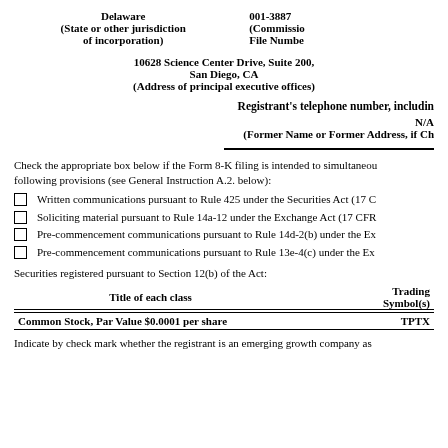Delaware
(State or other jurisdiction of incorporation)
001-3887
(Commission File Number)
10628 Science Center Drive, Suite 200, San Diego, CA
(Address of principal executive offices)
Registrant's telephone number, including
N/A
(Former Name or Former Address, if Ch
Check the appropriate box below if the Form 8-K filing is intended to simultaneously satisfy the filing obligation of the registrant under any of the following provisions (see General Instruction A.2. below):
Written communications pursuant to Rule 425 under the Securities Act (17 C
Soliciting material pursuant to Rule 14a-12 under the Exchange Act (17 CFR
Pre-commencement communications pursuant to Rule 14d-2(b) under the Ex
Pre-commencement communications pursuant to Rule 13e-4(c) under the Ex
Securities registered pursuant to Section 12(b) of the Act:
| Title of each class | Trading Symbol(s) |
| --- | --- |
| Common Stock, Par Value $0.0001 per share | TPTX |
Indicate by check mark whether the registrant is an emerging growth company as